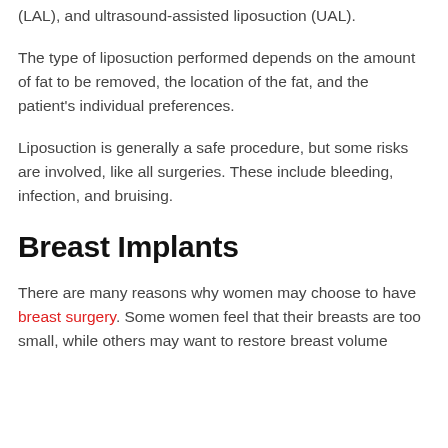(LAL), and ultrasound-assisted liposuction (UAL).
The type of liposuction performed depends on the amount of fat to be removed, the location of the fat, and the patient's individual preferences.
Liposuction is generally a safe procedure, but some risks are involved, like all surgeries. These include bleeding, infection, and bruising.
Breast Implants
There are many reasons why women may choose to have breast surgery. Some women feel that their breasts are too small, while others may want to restore breast volume